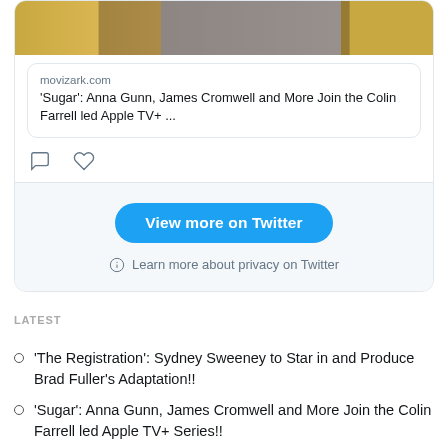[Figure (screenshot): Twitter/X embedded tweet card showing top portion with image of person in black sparkly outfit against gold background, a link preview card for movizark.com article about 'Sugar': Anna Gunn, James Cromwell and More Join the Colin Farrell led Apple TV+ ..., and comment/like action icons]
movizark.com
'Sugar': Anna Gunn, James Cromwell and More Join the Colin Farrell led Apple TV+ ...
View more on Twitter
Learn more about privacy on Twitter
LATEST
'The Registration': Sydney Sweeney to Star in and Produce Brad Fuller's Adaptation!!
'Sugar': Anna Gunn, James Cromwell and More Join the Colin Farrell led Apple TV+ Series!!